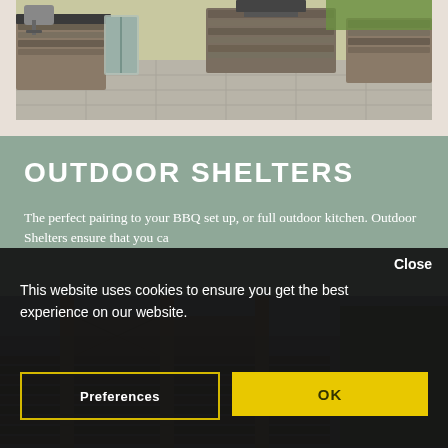[Figure (photo): Aerial view of an L-shaped outdoor kitchen with stone cladding, gray bar stool, and BBQ grill on a patio]
OUTDOOR SHELTERS
The perfect pairing to your BBQ set up, or full outdoor kitchen. Outdoor Shelters ensure that you ca
[Figure (photo): Partial view of an outdoor shelter structure with wooden posts and lattice panels, trees visible in background]
Close
This website uses cookies to ensure you get the best experience on our website.
Preferences
OK